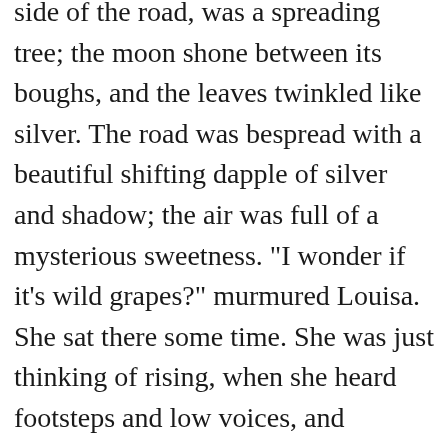side of the road, was a spreading tree; the moon shone between its boughs, and the leaves twinkled like silver. The road was bespread with a beautiful shifting dapple of silver and shadow; the air was full of a mysterious sweetness. "I wonder if it’s wild grapes?" murmured Louisa. She sat there some time. She was just thinking of rising, when she heard footsteps and low voices, and remained quiet. It was a lonely place, and she felt a little timid. She thought she would keep still in the shadow and let the persons, whoever they might be, pass her.

But just before they reached her the voices ceased, and